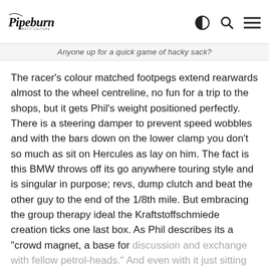Pipeburn
Anyone up for a quick game of hacky sack?
The racer’s colour matched footpegs extend rearwards almost to the wheel centreline, no fun for a trip to the shops, but it gets Phil’s weight positioned perfectly. There is a steering damper to prevent speed wobbles and with the bars down on the lower clamp you don’t so much as sit on Hercules as lay on him. The fact is this BMW throws off its go anywhere touring style and is singular in purpose; revs, dump clutch and beat the other guy to the end of the 1/8th mile. But embracing the group therapy ideal the Kraftstoffschmiede creation ticks one last box. As Phil describes its a “crowd magnet, a base for discussion and exchange with fellow petrol-heads.” And even with it just sitting still, we feel better